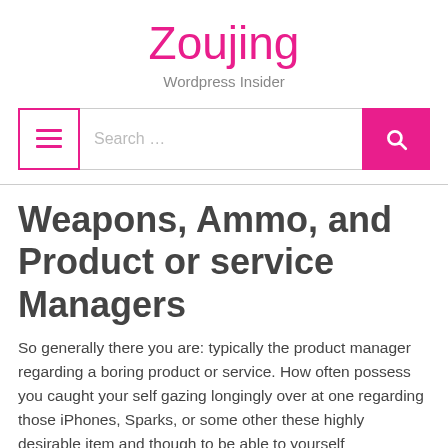Zoujing
Wordpress Insider
[Figure (screenshot): Search bar with hamburger menu button on the left and pink search button on the right]
Weapons, Ammo, and Product or service Managers
So generally there you are: typically the product manager regarding a boring product or service. How often possess you caught your self gazing longingly over at one regarding those iPhones, Sparks, or some other these highly desirable item and though to be able to yourself